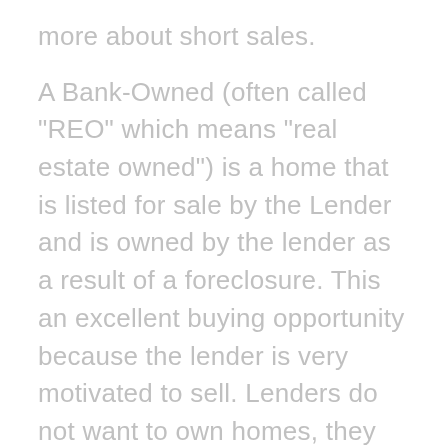more about short sales.
A Bank-Owned (often called "REO" which means "real estate owned") is a home that is listed for sale by the Lender and is owned by the lender as a result of a foreclosure. This an excellent buying opportunity because the lender is very motivated to sell. Lenders do not want to own homes, they want to loan money. The carrying costs and risk of vandalism due to vacancy provide an incentive to the lender to move a bank-owned home quickly off of their books.